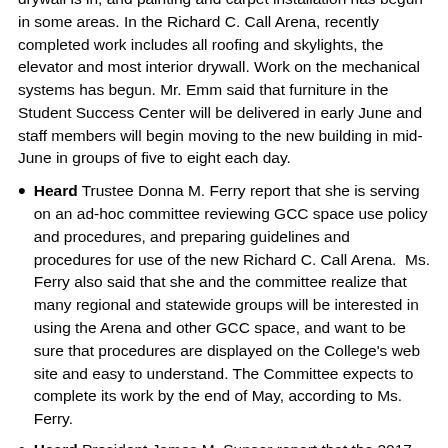drywall is in, and painting and carpet installation has begun in some areas. In the Richard C. Call Arena, recently completed work includes all roofing and skylights, the elevator and most interior drywall. Work on the mechanical systems has begun. Mr. Emm said that furniture in the Student Success Center will be delivered in early June and staff members will begin moving to the new building in mid-June in groups of five to eight each day.
Heard Trustee Donna M. Ferry report that she is serving on an ad-hoc committee reviewing GCC space use policy and procedures, and preparing guidelines and procedures for use of the new Richard C. Call Arena.  Ms. Ferry also said that she and the committee realize that many regional and statewide groups will be interested in using the Arena and other GCC space, and want to be sure that procedures are displayed on the College's web site and easy to understand. The Committee expects to complete its work by the end of May, according to Ms. Ferry.
Heard President James M. Sunser report that the 2017-2018 New York State budget appears to result in decreased funding for most of the state's community colleges, including Genesee. SUNY and community college leaders asked the State Legislature to ensure that funding for the coming year would not